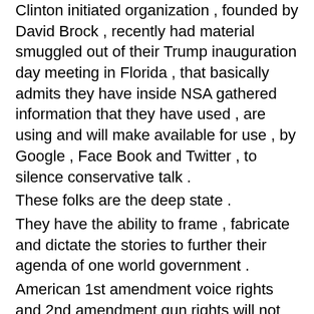Clinton initiated organization , founded by David Brock , recently had material smuggled out of their Trump inauguration day meeting in Florida , that basically admits they have inside NSA gathered information that they have used , are using and will make available for use , by Google , Face Book and Twitter , to silence conservative talk .
These folks are the deep state .
They have the ability to frame , fabricate and dictate the stories to further their agenda of one world government .
American 1st amendment voice rights and 2nd amendment gun rights will not be allowed in the new world order and anything that gives power and voice to the people of this world must be stopped .
Cody got in over his head and is being silenced